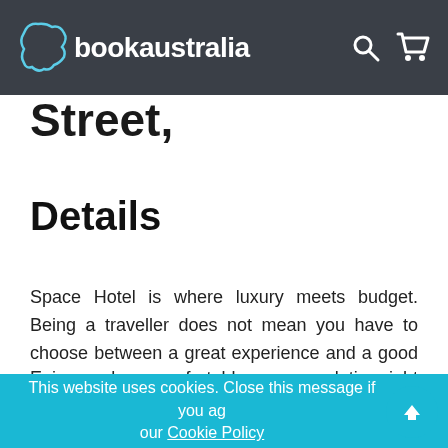bookaustralia
Street,
Details
Space Hotel is where luxury meets budget. Being a traveller does not mean you have to choose between a great experience and a good night's sleep. At Space Hotel, you can have both.
Enjoy modern, comfortable accommodation right between vibrant Melbourne city and Lygon Street, the city's famous restaurant and bar district.
This website uses cookies. Close this message if you agree to our Cookie Policy